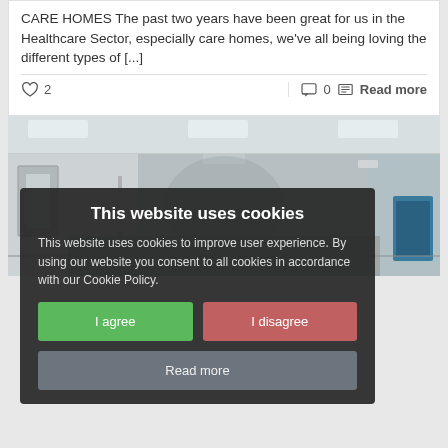CARE HOMES The past two years have been great for us in the Healthcare Sector, especially care homes, we've all being loving the different types of [...]
♡ 2   💬 0  Read more
[Figure (photo): Hospital corridor with white walls and fluorescent ceiling lights, doors on the left and right side, a blue trolley visible on the right.]
This website uses cookies
This website uses cookies to improve user experience. By using our website you consent to all cookies in accordance with our Cookie Policy.
I agree   I disagree
Read more